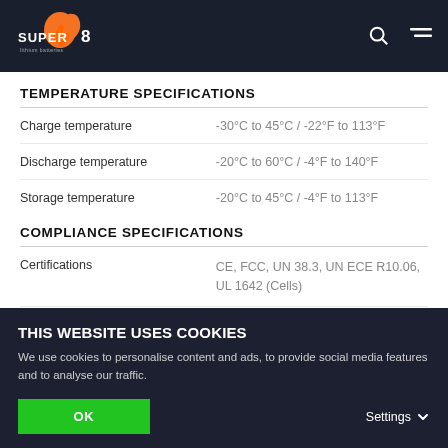Super B Lithium Batteries
TEMPERATURE SPECIFICATIONS
| Property | Value |
| --- | --- |
| Charge temperature | -30°C to 45°C / -22°F to 113°F |
| Discharge temperature | -20°C to 60°C / -4°F to 140°F |
| Storage temperature | -20°C to 45°C / -4°F to 113°F |
COMPLIANCE SPECIFICATIONS
| Property | Value |
| --- | --- |
| Certifications | CE, FCC, UN 38.3, UN ECE R10.06, UL 1642 (Cells) |
| Shipping classification | UN 3480 |
THIS WEBSITE USES COOKIES
We use cookies to personalise content and ads, to provide social media features and to analyse our traffic.
OK
Settings